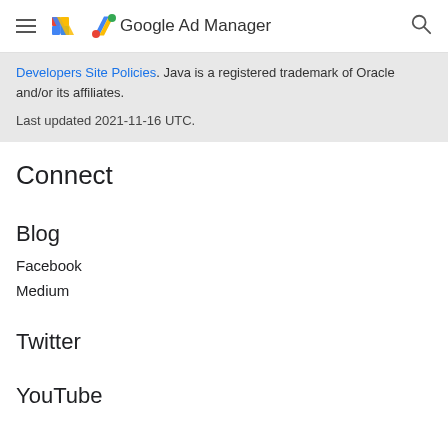Google Ad Manager
Developers Site Policies. Java is a registered trademark of Oracle and/or its affiliates.

Last updated 2021-11-16 UTC.
Connect
Blog
Facebook
Medium
Twitter
YouTube